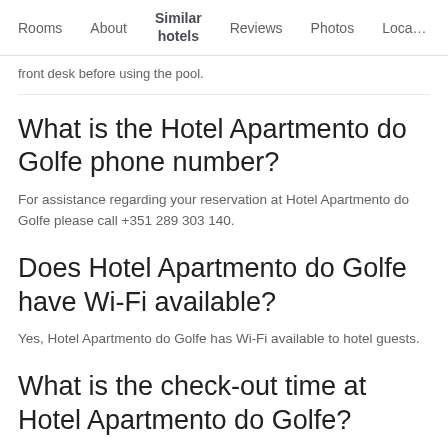Rooms  About  Similar hotels  Reviews  Photos  Loca…
front desk before using the pool.
What is the Hotel Apartmento do Golfe phone number?
For assistance regarding your reservation at Hotel Apartmento do Golfe please call +351 289 303 140.
Does Hotel Apartmento do Golfe have Wi-Fi available?
Yes, Hotel Apartmento do Golfe has Wi-Fi available to hotel guests.
What is the check-out time at Hotel Apartmento do Golfe?